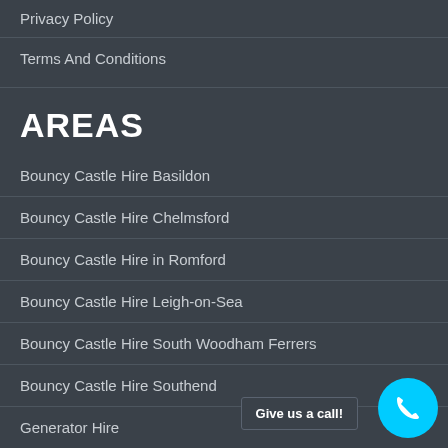Privacy Policy
Terms And Conditions
AREAS
Bouncy Castle Hire Basildon
Bouncy Castle Hire Chelmsford
Bouncy Castle Hire in Romford
Bouncy Castle Hire Leigh-on-Sea
Bouncy Castle Hire South Woodham Ferrers
Bouncy Castle Hire Southend
Generator Hire
Legal Documents
Give us a call!